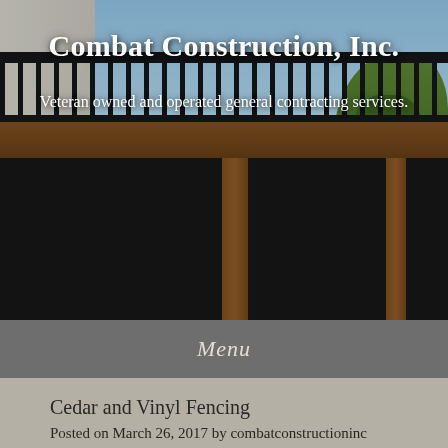[Figure (photo): Photo of a deck with black metal railing, brown wood fascia, support posts, and under-deck area. Building siding visible on left, trees on right, blue sky in background.]
Combat Construction, Inc.
Veteran owned and operated general contracting services.
Menu
Cedar and Vinyl Fencing
Posted on March 26, 2017 by combatconstructioninc